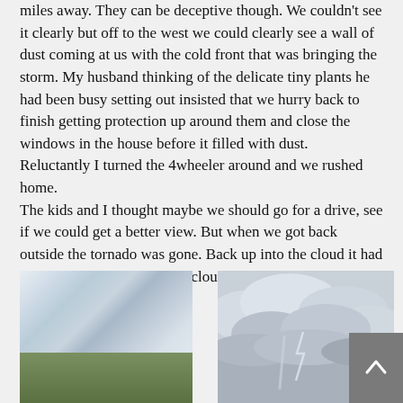miles away. They can be deceptive though. We couldn't see it clearly but off to the west we could clearly see a wall of dust coming at us with the cold front that was bringing the storm. My husband thinking of the delicate tiny plants he had been busy setting out insisted that we hurry back to finish getting protection up around them and close the windows in the house before it filled with dust.
Reluctantly I turned the 4wheeler around and we rushed home.
The kids and I thought maybe we should go for a drive, see if we could get a better view. But when we got back outside the tornado was gone. Back up into the cloud it had come from. The dark storm clouds were already starting to lighten.
The excitement was over.
[Figure (photo): Photo of storm clouds over a green field with trees on the left horizon]
[Figure (photo): Photo of dark storm clouds, possibly showing a tornado or funnel cloud, with lightning bolt visible]